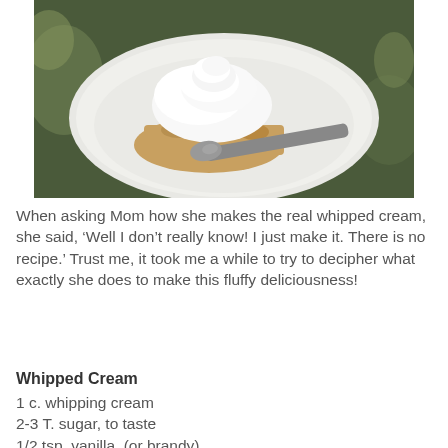[Figure (photo): A slice of pie or dessert topped with whipped cream on a white plate, with a spoon resting on the plate, on a floral tablecloth background.]
When asking Mom how she makes the real whipped cream, she said, ‘Well I don’t really know! I just make it. There is no recipe.’ Trust me, it took me a while to try to decipher what exactly she does to make this fluffy deliciousness!
Whipped Cream
1 c. whipping cream
2-3 T. sugar, to taste
1/2 tsp. vanilla, (or brandy)
Begin to whip the cream in a mixer. As it starts to thicken, increase speed to maximum. Gradually add the sugar as you...